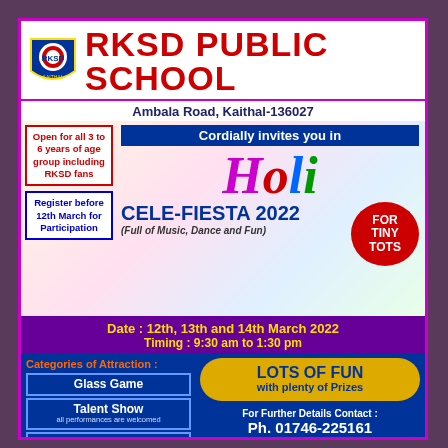RKSD PUBLIC SCHOOL
Ambala Road, Kaithal-136027
Open for all 3 to 6 years of age group including RKSD fans
Register before 12th March for Participation
Cordially invites you in
Holi CELE-FIESTA 2022
(Full of Music, Dance and Fun)
FOR TINY TOTS
Date : 12th, 13th and 14th March 2022
Timing : 9:30 am to 1:30 pm
Categories of Attraction :
Glass Game
Talent Show
all performances are welcomed
Musical Chair
Ball Game
LOTS OF FUN with plenty of Prizes
For Further Details Contact : Ph. 01746-225161
Limited Participation Daily
(Only one time Participation)